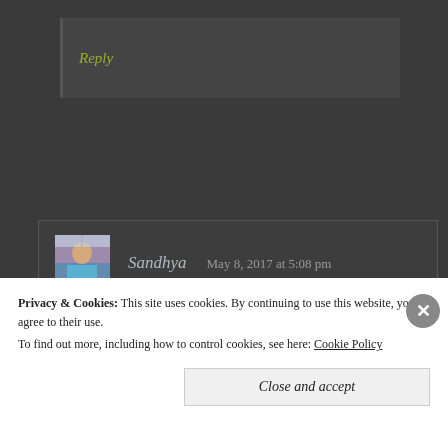Reply
Sandhya   May 8, 2017 at 5:08 pm
What a delicious recipe, Meena! I love kootus and have not had any with fresh field beans. What a treat!
Privacy & Cookies: This site uses cookies. By continuing to use this website, you agree to their use.
To find out more, including how to control cookies, see here: Cookie Policy
Close and accept